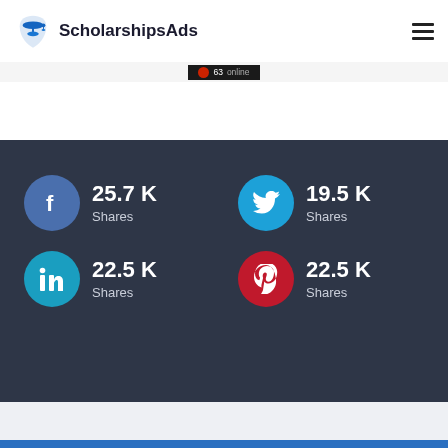[Figure (logo): ScholarshipsAds logo with graduation cap icon and site name]
[Figure (infographic): Social share counts: Facebook 25.7K Shares, Twitter 19.5K Shares, LinkedIn 22.5K Shares, Pinterest 22.5K Shares]